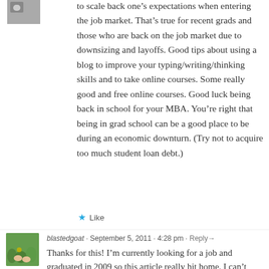to scale back one's expectations when entering the job market. That's true for recent grads and those who are back on the job market due to downsizing and layoffs. Good tips about using a blog to improve your typing/writing/thinking skills and to take online courses. Some really good and free online courses. Good luck being back in school for your MBA. You're right that being in grad school can be a good place to be during an economic downturn. (Try not to acquire too much student loan debt.)
Like
blastedgoat · September 5, 2011 · 4:28 pm · Reply→
Thanks for this! I'm currently looking for a job and graduated in 2009 so this article really hit home. I can't